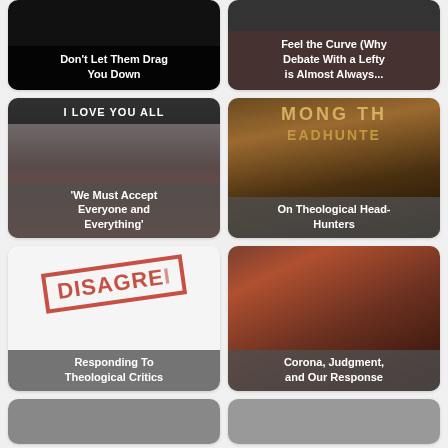[Figure (illustration): Black background card with white text: Don't Let Them Drag You Down]
[Figure (illustration): Dark background card with text: Feel the Curve (Why Debate With a Lefty is Almost Always...]
[Figure (photo): Oprah meme with 'I LOVE YOU ALL' text and overlay: 'We Must Accept Everyone and Everything']
[Figure (illustration): Book cover 'Among the Headhunters' with overlay: On Theological Head-Hunters]
[Figure (illustration): DISAGREE stamp image with overlay: Responding To Theological Critics]
[Figure (illustration): Classical painting with overlay: Corona, Judgment, and Our Response]
[Figure (photo): Partial card image at bottom left]
[Figure (illustration): Partial card image at bottom right]